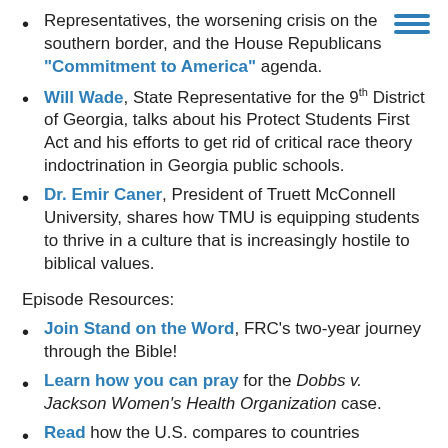Representatives, the worsening crisis on the southern border, and the House Republicans "Commitment to America" agenda.
Will Wade, State Representative for the 9th District of Georgia, talks about his Protect Students First Act and his efforts to get rid of critical race theory indoctrination in Georgia public schools.
Dr. Emir Caner, President of Truett McConnell University, shares how TMU is equipping students to thrive in a culture that is increasingly hostile to biblical values.
Episode Resources:
Join Stand on the Word, FRC's two-year journey through the Bible!
Learn how you can pray for the Dobbs v. Jackson Women's Health Organization case.
Read how the U.S. compares to countries